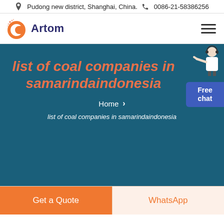Pudong new district, Shanghai, China.  0086-21-58386256
[Figure (logo): Artom logo with orange circular C and dark blue text 'Artom']
list of coal companies in samarindaindonesia
Home > list of coal companies in samarindaindonesia
Get a Quote
WhatsApp